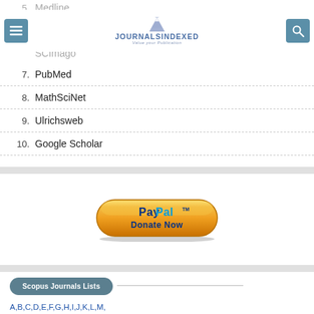[Figure (logo): JournalsIndexed logo with mountain icon, tagline 'Value your Publication']
5.  Medline
6.  SCImago
7.  PubMed
8.  MathSciNet
9.  Ulrichsweb
10.  Google Scholar
[Figure (other): PayPal Donate Now button]
Scopus Journals Lists
A,B,C,D,E,F,G,H,I,J,K,L,M,
N,O,P,Q,R,S,T,U,V,W,X,Y,Z